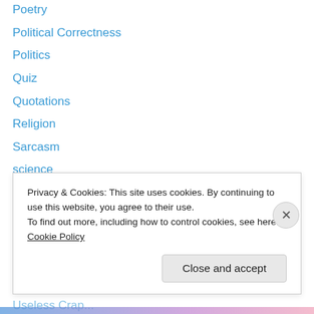Poetry
Political Correctness
Politics
Quiz
Quotations
Religion
Sarcasm
science
Sex
Sports
Stupidity
Travel
Trivia
Useless Crap (truncated/partially visible)
Privacy & Cookies: This site uses cookies. By continuing to use this website, you agree to their use. To find out more, including how to control cookies, see here: Cookie Policy